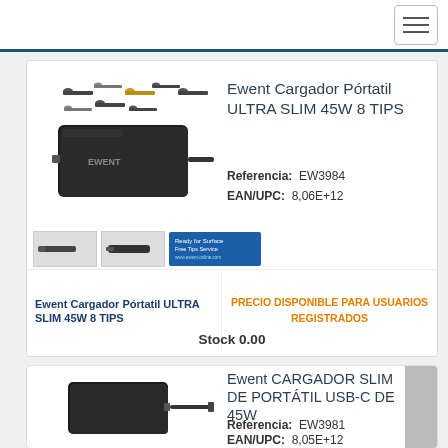Ewent Cargador Pórtatil ULTRA SLIM 45W 8 TIPS
Referencia: EW3984
EAN/UPC: 8,06E+12
[Figure (photo): Product photo of Ewent Cargador Pórtatil ULTRA SLIM 45W 8 TIPS charger with multiple tips shown]
Ewent Cargador Pórtatil ULTRA SLIM 45W 8 TIPS
PRECIO DISPONIBLE PARA USUARIOS REGISTRADOS
Stock 0.00
Ewent CARGADOR SLIM DE PORTÁTIL USB-C DE 45W
Referencia: EW3981
EAN/UPC: 8,05E+12
[Figure (photo): Product photo of Ewent CARGADOR SLIM DE PORTÁTIL USB-C DE 45W charger]